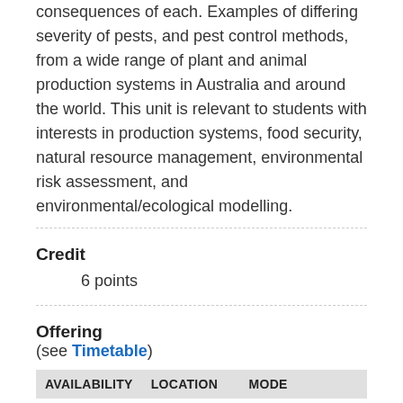consequences of each. Examples of differing severity of pests, and pest control methods, from a wide range of plant and animal production systems in Australia and around the world. This unit is relevant to students with interests in production systems, food security, natural resource management, environmental risk assessment, and environmental/ecological modelling.
Credit
6 points
Offering
(see Timetable)
| AVAILABILITY | LOCATION | MODE |
| --- | --- | --- |
| Semester 1 | Online | Online Restricted |
| Semester 1 | UWA (Perth) | Face to face |